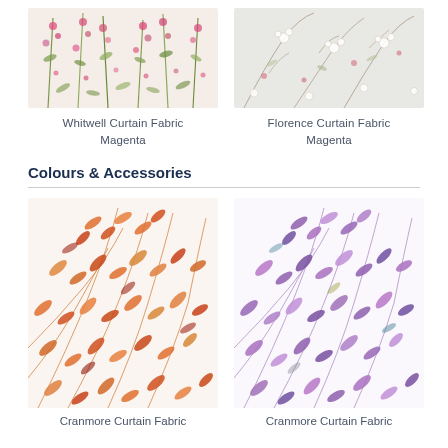[Figure (photo): Whitwell Curtain Fabric Magenta – floral botanical pattern with pink and green flowers on cream background]
Whitwell Curtain Fabric
Magenta
[Figure (photo): Florence Curtain Fabric Magenta – delicate floral pattern with white flowers on light grey background]
Florence Curtain Fabric
Magenta
Colours & Accessories
[Figure (photo): Cranmore Curtain Fabric – repeating orange and red leaf/stem pattern on white background]
Cranmore Curtain Fabric
[Figure (photo): Cranmore Curtain Fabric – repeating purple and lavender leaf/stem pattern on white background]
Cranmore Curtain Fabric